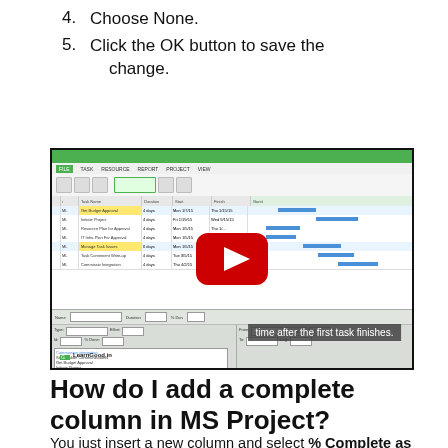4. Choose None.
5. Click the OK button to save the change.
[Figure (screenshot): YouTube video screenshot showing MS Project with a task dependency dialog. A red play button is centered. At the bottom, the subtitle reads 'time after the first task finishes.' and a LearnGood.in watermark is visible.]
How do I add a complete column in MS Project?
You just insert a new column and select % Complete as Field Name